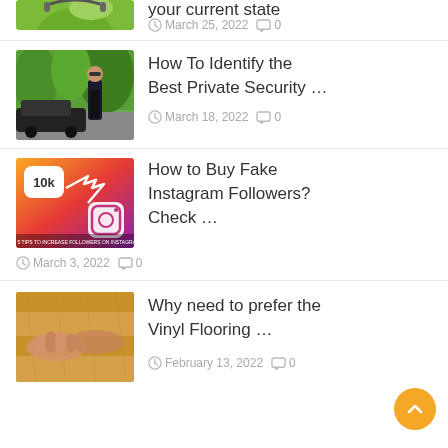[Figure (photo): Partial top image of a green frog/alien-like figure with headphones]
your current state
March 25, 2022   0
[Figure (photo): Man in black suit and sunglasses standing near a black car with trees in background]
How To Identify the Best Private Security …
March 18, 2022   0
[Figure (photo): Instagram followers promotional graphic with 10k badge and Instagram logo on orange-red gradient background]
How to Buy Fake Instagram Followers? Check …
March 3, 2022   0
[Figure (photo): Hands laying down vinyl/wood flooring planks]
Why need to prefer the Vinyl Flooring …
February 13, 2022   0